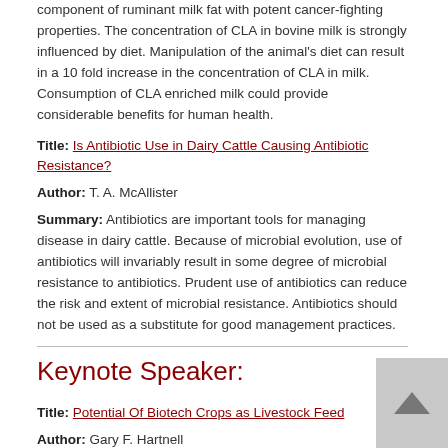component of ruminant milk fat with potent cancer-fighting properties. The concentration of CLA in bovine milk is strongly influenced by diet. Manipulation of the animal's diet can result in a 10 fold increase in the concentration of CLA in milk. Consumption of CLA enriched milk could provide considerable benefits for human health.
Title: Is Antibiotic Use in Dairy Cattle Causing Antibiotic Resistance?
Author: T. A. McAllister
Summary: Antibiotics are important tools for managing disease in dairy cattle. Because of microbial evolution, use of antibiotics will invariably result in some degree of microbial resistance to antibiotics. Prudent use of antibiotics can reduce the risk and extent of microbial resistance. Antibiotics should not be used as a substitute for good management practices.
Keynote Speaker:
Title: Potential Of Biotech Crops as Livestock Feed
Author: Gary F. Hartnell